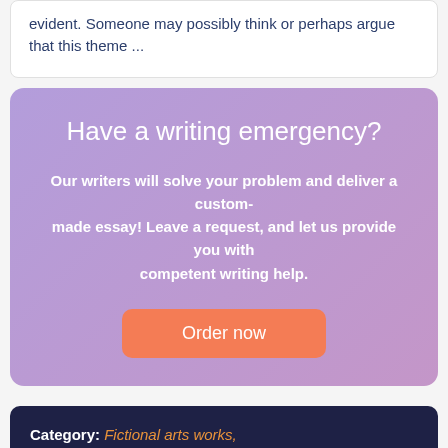evident. Someone may possibly think or perhaps argue that this theme ...
Have a writing emergency?
Our writers will solve your problem and deliver a custom-made essay! Leave a request, and let us provide you with competent writing help.
Order now
Category: Fictional arts works, Topic: This individual, Wellness, Words: 1235 Views: 346